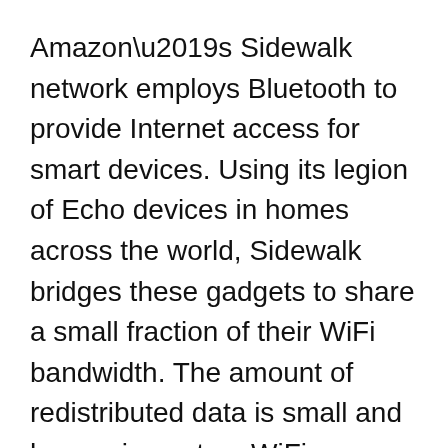Amazon’s Sidewalk network employs Bluetooth to provide Internet access for smart devices. Using its legion of Echo devices in homes across the world, Sidewalk bridges these gadgets to share a small fraction of their WiFi bandwidth. The amount of redistributed data is small and has no impact on WiFi performance. The secure network, if successful, could blanket much of the world.
Adding Tile to the Sidewalk network is a massive advantage. Right now, educated consumers may prefer Apple’s AirTag to Tile,